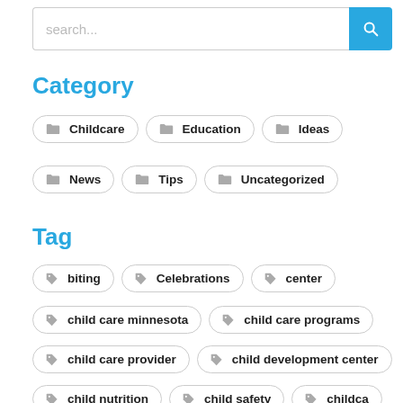[Figure (screenshot): Search bar with text input and blue search button]
Category
Childcare
Education
Ideas
News
Tips
Uncategorized
Tag
biting
Celebrations
center
child care minnesota
child care programs
child care provider
child development center
child nutrition
child safety
childca...
early childhood development